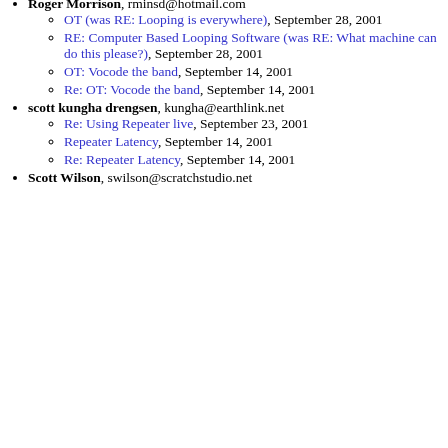Roger Morrison, rminsd@hotmail.com
OT (was RE: Looping is everywhere), September 28, 2001
RE: Computer Based Looping Software (was RE: What machine can do this please?), September 28, 2001
OT: Vocode the band, September 14, 2001
Re: OT: Vocode the band, September 14, 2001
scott kungha drengsen, kungha@earthlink.net
Re: Using Repeater live, September 23, 2001
Repeater Latency, September 14, 2001
Re: Repeater Latency, September 14, 2001
Scott Wilson, swilson@scratchstudio.net